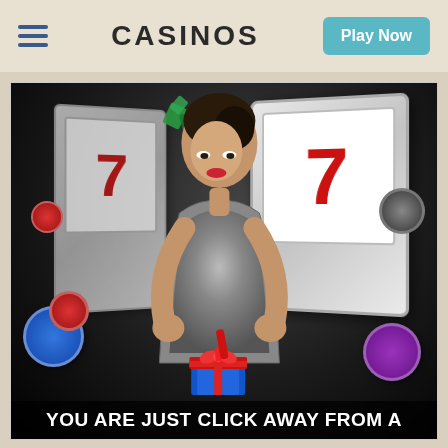CASINOS | Play Now
[Figure (illustration): Casino promotional image featuring a glamorous woman in a sequined dress opening a gift box, surrounded by slot machine reels showing lucky 7s, casino chips in red, blue, and purple, and playing cards on a dark background. Text at bottom reads: YOU ARE JUST CLICK AWAY FROM A]
YOU ARE JUST CLICK AWAY FROM A